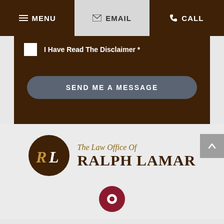MENU | EMAIL | CALL
I Have Read The Disclaimer *
SEND ME A MESSAGE
[Figure (logo): The Law Office of Ralph Lamar logo — circular brown emblem with RL letters, beside text 'The Law Office Of RALPH LAMAR']
[Figure (illustration): Dark red map location pin icon at bottom of page]